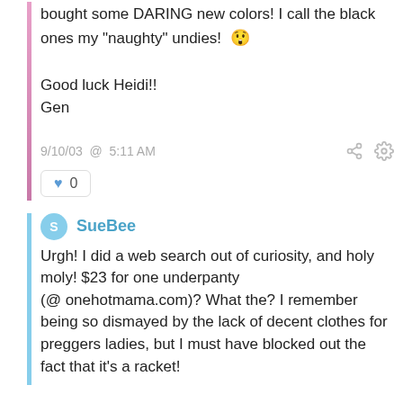bought some DARING new colors! I call the black ones my "naughty" undies! 😲
Good luck Heidi!!
Gen
9/10/03 @ 5:11 AM
♥ 0
SueBee
Urgh! I did a web search out of curiosity, and holy moly! $23 for one underpanty (@ onehotmama.com)? What the? I remember being so dismayed by the lack of decent clothes for preggers ladies, but I must have blocked out the fact that it's a racket!